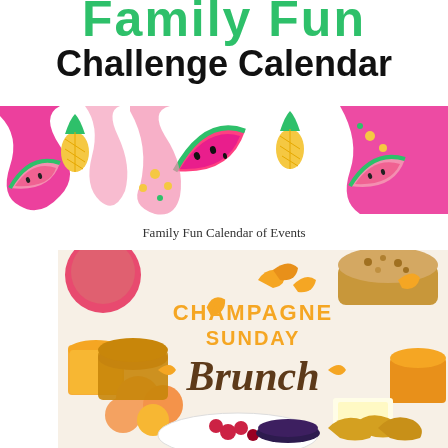Family Fun Challenge Calendar
[Figure (illustration): Colorful tropical fruit pattern banner with watermelons, pineapples, and swirly pink shapes on white background]
Family Fun Calendar of Events
[Figure (photo): Champagne Sunday Brunch promotional image with overhead view of brunch foods including croissants, jam, tea, peaches, granola, and other breakfast items. Text reads CHAMPAGNE SUNDAY Brunch in orange and brown lettering with autumn leaf decorations.]